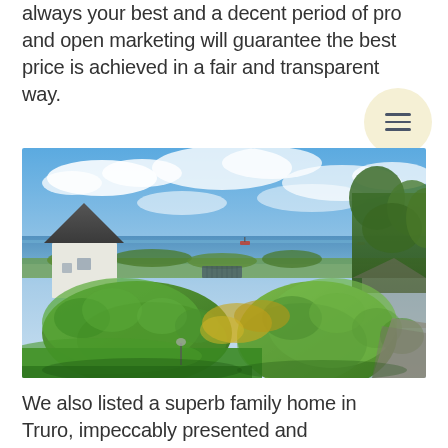always your best and a decent period of pro and open marketing will guarantee the best price is achieved in a fair and transparent way.
[Figure (photo): Aerial view of a family home in Truro with well-maintained garden hedges, a white house with grey roof, sea visible in the background under a blue sky with clouds, and tall trees on the right.]
We also listed a superb family home in Truro, impeccably presented and complemented by